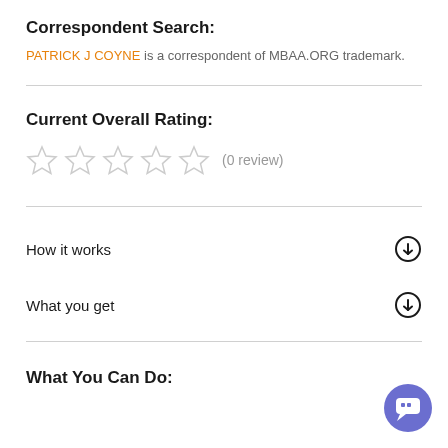Correspondent Search:
PATRICK J COYNE is a correspondent of MBAA.ORG trademark.
Current Overall Rating:
(0 review)
How it works
What you get
What You Can Do: